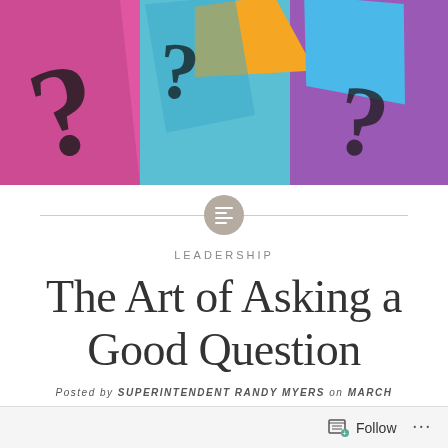[Figure (photo): Colorful paper sheets with question marks drawn on them in pink, blue, teal, purple, and orange colors, overlapping each other]
LEADERSHIP
The Art of Asking a Good Question
Posted by SUPERINTENDENT RANDY MYERS on MARCH